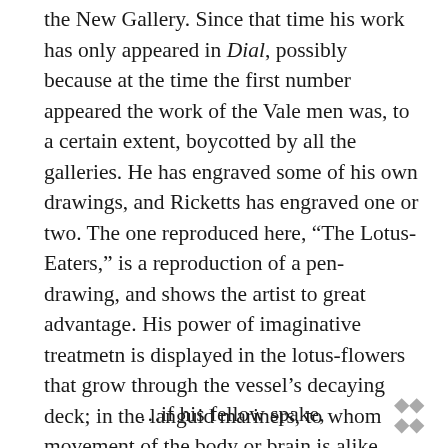the New Gallery. Since that time his work has only appeared in Dial, possibly because at the time the first number appeared the work of the Vale men was, to a certain extent, boycotted by all the galleries. He has engraved some of his own drawings, and Ricketts has engraved one or two. The one reproduced here, “The Lotus-Eaters,” is a reproduction of a pen-drawing, and shows the artist to great advantage. His power of imaginative treatmetn is displayed in the lotus-flowers that grow through the vessel’s decaying deck; in the languid mariners, to whom movement of the body or brain is alike impossible; in the misty phantoms hovering over all. The mariner in the foreground recalls certain lines of Tennyson’s poem—
…if his fellow spake,